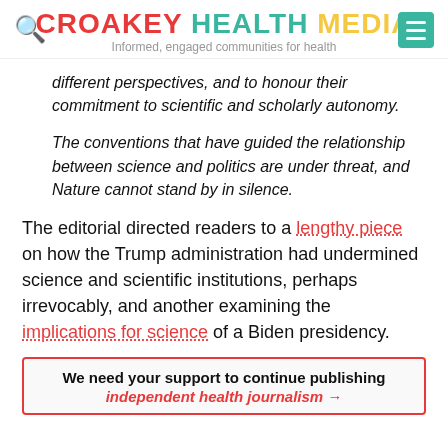CROAKEY HEALTH MEDIA — Informed, engaged communities for health
different perspectives, and to honour their commitment to scientific and scholarly autonomy.
The conventions that have guided the relationship between science and politics are under threat, and Nature cannot stand by in silence.
The editorial directed readers to a lengthy piece on how the Trump administration had undermined science and scientific institutions, perhaps irrevocably, and another examining the implications for science of a Biden presidency.
We need your support to continue publishing